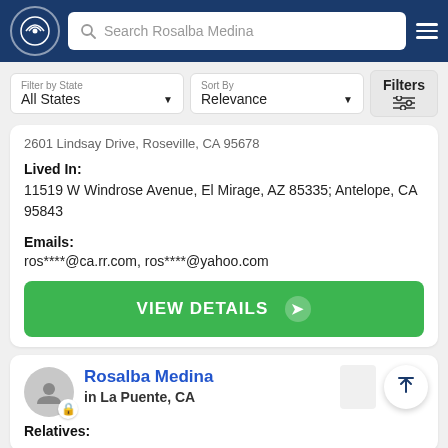[Figure (screenshot): Navigation bar with logo, search box 'Search Rosalba Medina', and hamburger menu]
Filter by State: All States | Sort By: Relevance | Filters
2601 Lindsay Drive, Roseville, CA 95678
Lived In:
11519 W Windrose Avenue, El Mirage, AZ 85335; Antelope, CA 95843
Emails:
ros****@ca.rr.com, ros****@yahoo.com
VIEW DETAILS ➔
Rosalba Medina
in La Puente, CA
Relatives: